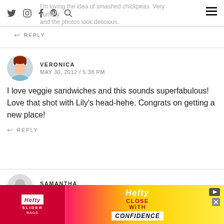I'm loving the idea of smashed chickpeas. Very summery and the photos look delicious.
REPLY
VERONICA
MAY 30, 2012 / 5:38 PM
I love veggie sandwiches and this sounds superfabulous! Love that shot with Lily's head-hehe. Congrats on getting a new place!
REPLY
SAMANTHA
MAY 30, 2012 / 8:57 PM
Made t[runcated] ... ink you!
[Figure (other): Hefty Slider advertisement banner with red and yellow background, Hefty logo, 'CLOSE WITH CONFIDENCE' text]